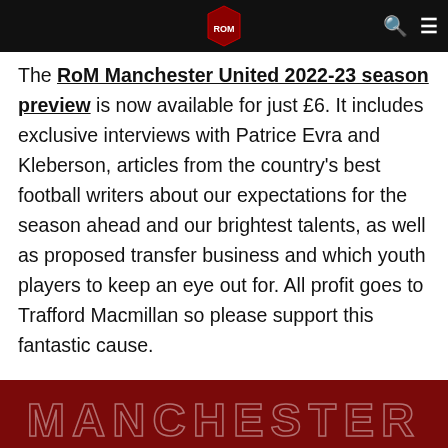RoM Manchester United [logo and navigation bar]
The RoM Manchester United 2022-23 season preview is now available for just £6. It includes exclusive interviews with Patrice Evra and Kleberson, articles from the country's best football writers about our expectations for the season ahead and our brightest talents, as well as proposed transfer business and which youth players to keep an eye out for. All profit goes to Trafford Macmillan so please support this fantastic cause.
[Figure (other): Dark red banner at the bottom of the page with the word MANCHESTER in large outlined/hollow letters]